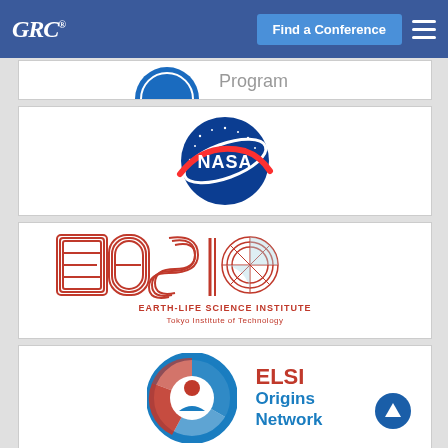[Figure (logo): GRC (Gordon Research Conferences) logo in white italic on blue navigation bar]
[Figure (logo): Find a Conference button on blue navigation bar]
[Figure (logo): Hamburger menu icon on blue navigation bar]
[Figure (logo): Partial sponsor card at top showing a blue circular logo and the word 'Program']
[Figure (logo): NASA meatball logo - blue circle with NASA text and red swoosh]
[Figure (logo): Earth-Life Science Institute (ELSI) logo with stylized letters and text 'EARTH-LIFE SCIENCE INSTITUTE Tokyo Institute of Technology']
[Figure (logo): ELSI Origins Network logo with circular blue/red graphic and text 'ELSI Origins Network' in red and blue]